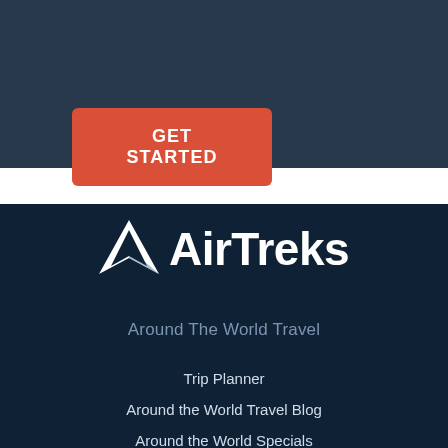[Figure (other): Dark blue-tinted background photo of an airport or travel terminal]
GET STARTED
[Figure (logo): AirTreks logo with white paper plane / arrow icon and AirTreks wordmark in white on dark navy background]
Around The World Travel
Trip Planner
Around the World Travel Blog
Around the World Specials